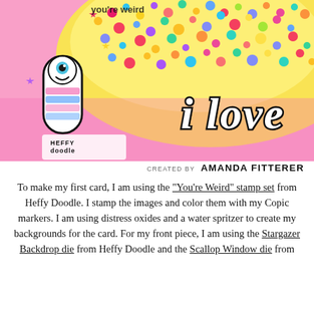[Figure (photo): Close-up photo of a colorful craft card featuring a cute alien/monster character, confetti, and 'i love' text die cut in white with black outline on a pink background. Heffy Doodle logo visible in lower left.]
CREATED BY AMANDA FITTERER
To make my first card, I am using the "You're Weird" stamp set from Heffy Doodle. I stamp the images and color them with my Copic markers. I am using distress oxides and a water spritzer to create my backgrounds for the card. For my front piece, I am using the Stargazer Backdrop die from Heffy Doodle and the Scallop Window die from